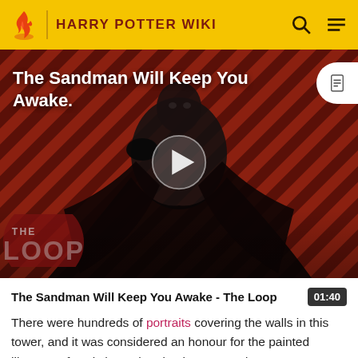HARRY POTTER WIKI
[Figure (screenshot): Video thumbnail showing a dark figure in black cape against a reddish diagonal striped background. Title overlay reads 'The Sandman Will Keep You Awake.' with a play button in the center and THE LOOP logo at the bottom left. A document icon appears at the top right.]
The Sandman Will Keep You Awake - The Loop  01:40
There were hundreds of portraits covering the walls in this tower, and it was considered an honour for the painted likeness of a witch or wizard to be mounted on